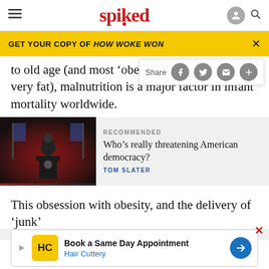spiked
GET YOUR COPY OF HOW WOKE WON
to old age (and most 'obese' people live to a very fat), malnutrition is a major factor in infant mortality worldwide.
[Figure (photo): Photo of a person speaking at a presidential podium with flags in the background, in red-lit setting]
RECOMMENDED
Who’s really threatening American democracy?
TOM SLATER
This obsession with obesity, and the delivery of ‘junk’ facts, a
ABOUT